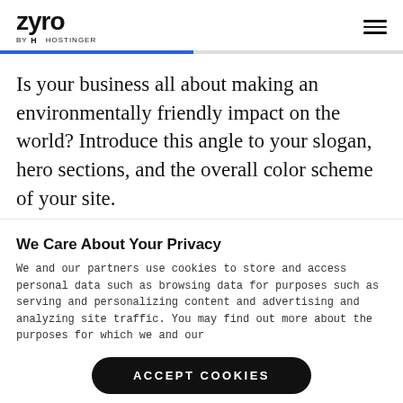zyro by HOSTINGER
Is your business all about making an environmentally friendly impact on the world? Introduce this angle to your slogan, hero sections, and the overall color scheme of your site.
Unsure how to get started? Dot down adjectives
We Care About Your Privacy
We and our partners use cookies to store and access personal data such as browsing data for purposes such as serving and personalizing content and advertising and analyzing site traffic. You may find out more about the purposes for which we and our
ACCEPT COOKIES